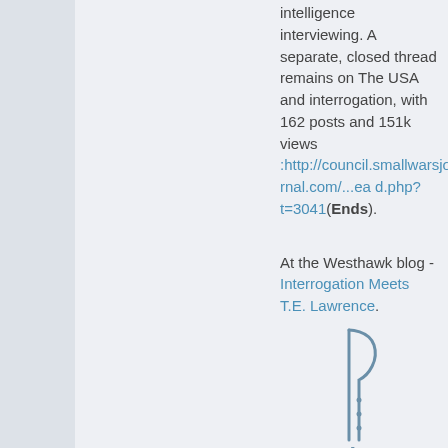intelligence interviewing. A separate, closed thread remains on The USA and interrogation, with 162 posts and 151k views :http://council.smallwarsjournal.com/...ead.php?t=3041(Ends).
At the Westhawk blog - Interrogation Meets T.E. Lawrence.
[Figure (illustration): Partial view of a stylized number 1 or navigation arrow icon, with dots, partially cropped at the bottom of the page.]